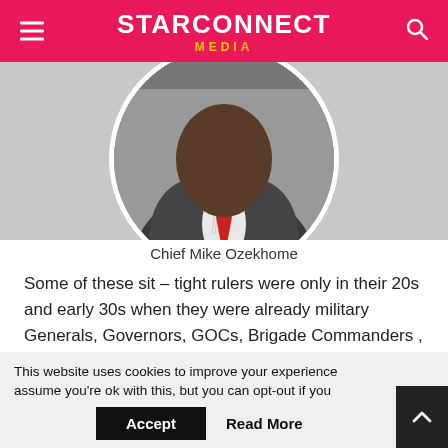STARCONNECT MEDIA
[Figure (photo): Circular profile photo of Chief Mike Ozekhome, wearing a suit with red tie, cropped to show neck and lower face]
Chief Mike Ozekhome
Some of these sit – tight rulers were only in their 20s and early 30s when they were already military Generals, Governors, GOCs, Brigade Commanders , Ministers, Commissioners, etc. They have never had any professional or occupational address. Only political addresses. General Yakubu Gowon, for example, was only 32 years old when he
This website uses cookies to improve your experience assume you're ok with this, but you can opt-out if you
Accept   Read More